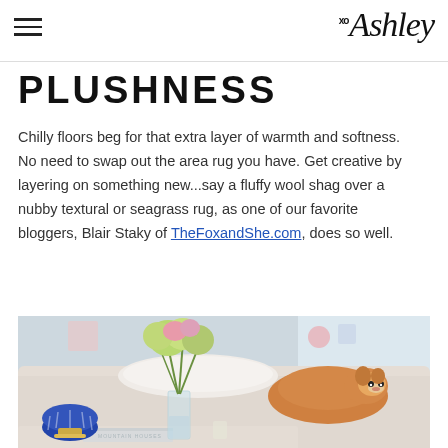xo Ashley
PLUSHNESS
Chilly floors beg for that extra layer of warmth and softness. No need to swap out the area rug you have. Get creative by layering on something new...say a fluffy wool shag over a nubby textural or seagrass rug, as one of our favorite bloggers, Blair Staky of TheFoxandShe.com, does so well.
[Figure (photo): Interior living room photo showing a light-colored sofa with a Shiba Inu dog resting on it, a glass vase with green and pink flowers on a coffee table, a blue and white decorative bowl with gold base, and a book on the table.]